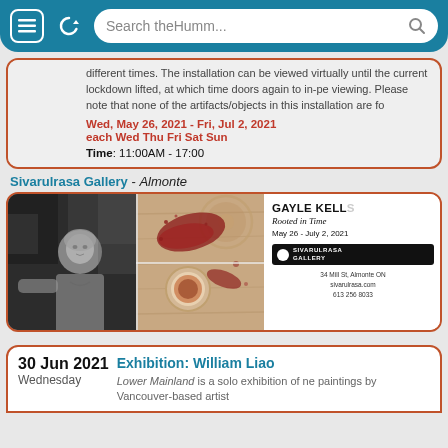[Figure (screenshot): Browser navigation bar with menu icon, refresh icon, and search bar reading 'Search theHumm...']
different times. The installation can be viewed virtually until the current lockdown lifted, at which time doors again to in-person viewing. Please note that none of the artifacts/objects in this installation are for
Wed, May 26, 2021 - Fri, Jul 2, 2021
each Wed Thu Fri Sat Sun
Time: 11:00AM - 17:00
Sivarulrasa Gallery - Almonte
[Figure (photo): Exhibition advertisement for Gayle Kells 'Rooted in Time', May 26 - July 2, 2021 at Sivarulrasa Gallery, featuring a black-and-white photo of an elderly woman and a color photo of spices/red powder with a small bowl on a wooden surface. Gallery address: 34 Mill St, Almonte ON, sivarulrasa.com, 613 256 8033]
30 Jun 2021
Wednesday
Exhibition: William Liao
Lower Mainland is a solo exhibition of new paintings by Vancouver-based artist